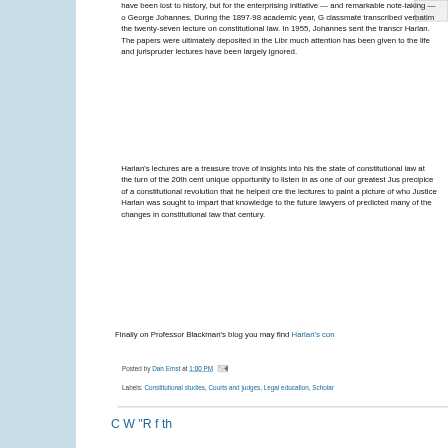have been lost to history, but for the enterprising initiative — and remarkable note-taking — of George Johannes. During the 1897-98 academic year, G classmate transcribed verbatim the twenty-seven lecture on constitutional law. In 1955, Johannes sent the transcr Harlan. The papers were ultimately deposited in the Libr much attention has been given to the life and jurispruder lectures have been largely ignored.
Harlan's lectures are a treasure trove of insights into his the state of constitutional law at the turn of the 20th cent unique opportunity to listen in as one of our greatest Jus precipice of a constitutional revolution that he helped cre the lectures to paint a picture of who Justice Harlan was sought to impart that knowledge to the future lawyers of predicted many of the changes in constitutional law that century.
Finally on Professor Blackman's blog you may find Harlan's con
Posted by Dan Ernst at 1:00 PM
Labels: Constitutional studies, Courts and judges, Legal education, Scholar